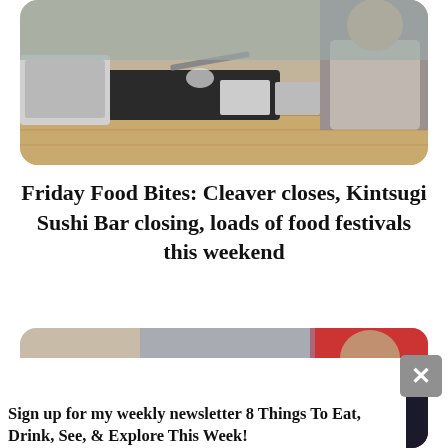[Figure (photo): Photo of a chef or cook working at a kitchen counter, cropped at the top of the page with rounded corners.]
Friday Food Bites: Cleaver closes, Kintsugi Sushi Bar closing, loads of food festivals this weekend
[Figure (photo): Partially visible photo of a restaurant or food scene in the background, overlaid by a newsletter signup popup.]
Sign up for my weekly newsletter 8 Things To Eat, Drink, See, & Explore This Week!
YOUR EMAIL ADDRESS
SUBSCRIBE